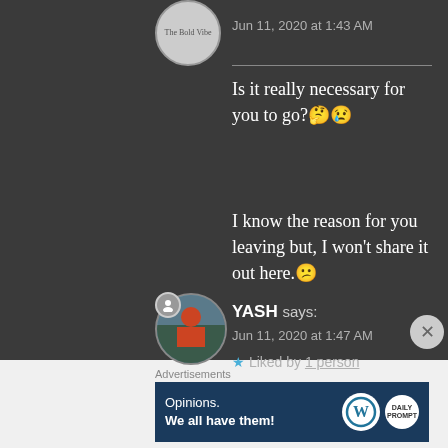Jun 11, 2020 at 1:43 AM
Is it really necessary for you to go?🤔😢
I know the reason for you leaving but, I won't share it out here.😕
★ Liked by 1 person
YASH says:
Jun 11, 2020 at 1:47 AM
Advertisements
Opinions. We all have them!